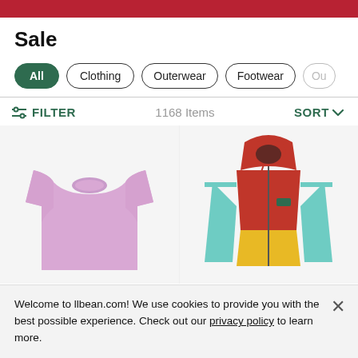Sale
All | Clothing | Outerwear | Footwear | Ou...
FILTER   1168 Items   SORT
[Figure (photo): Lavender/pink plain short-sleeve t-shirt on white background]
[Figure (photo): Colorful anorak jacket with red body, teal/mint sleeves, yellow lower section, with hood]
Welcome to llbean.com! We use cookies to provide you with the best possible experience. Check out our privacy policy to learn more.